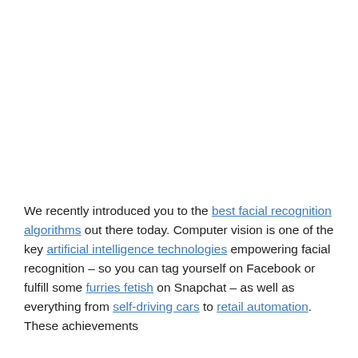We recently introduced you to the best facial recognition algorithms out there today. Computer vision is one of the key artificial intelligence technologies empowering facial recognition – so you can tag yourself on Facebook or fulfill some furries fetish on Snapchat – as well as everything from self-driving cars to retail automation. These achievements